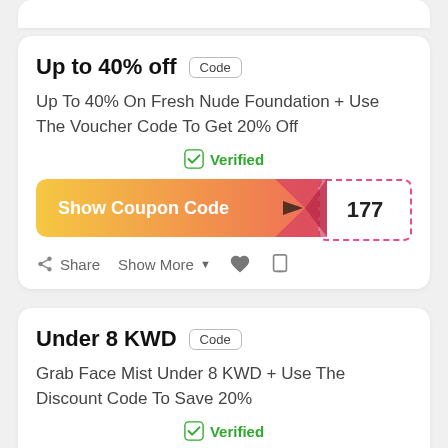[Figure (screenshot): Partial top edge of a coupon card (white rounded rectangle)]
Up to 40% off
Code
Up To 40% On Fresh Nude Foundation + Use The Voucher Code To Get 20% Off
Verified
[Figure (infographic): Show Coupon Code button with gradient background (yellow to pink) and dashed code reveal area showing '177']
Share  Show More▼
Under 8 KWD
Code
Grab Face Mist Under 8 KWD + Use The Discount Code To Save 20%
Verified